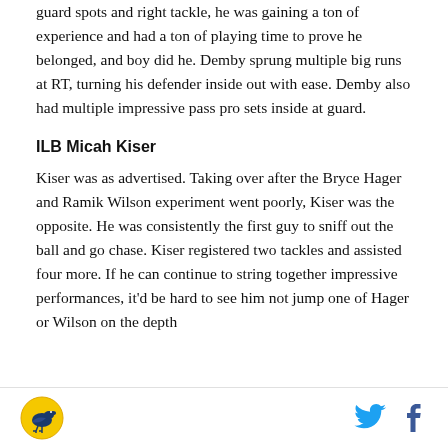guard spots and right tackle, he was gaining a ton of experience and had a ton of playing time to prove he belonged, and boy did he. Demby sprung multiple big runs at RT, turning his defender inside out with ease. Demby also had multiple impressive pass pro sets inside at guard.
ILB Micah Kiser
Kiser was as advertised. Taking over after the Bryce Hager and Ramik Wilson experiment went poorly, Kiser was the opposite. He was consistently the first guy to sniff out the ball and go chase. Kiser registered two tackles and assisted four more. If he can continue to string together impressive performances, it'd be hard to see him not jump one of Hager or Wilson on the depth
[logo] [twitter] [facebook]